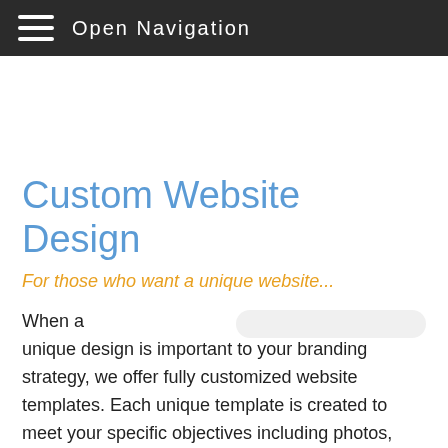Open Navigation
Custom Website Design
For those who want a unique website...
When a unique design is important to your branding strategy, we offer fully customized website templates. Each unique template is created to meet your specific objectives including photos, layouts, navigation, colours, styles, and fonts.